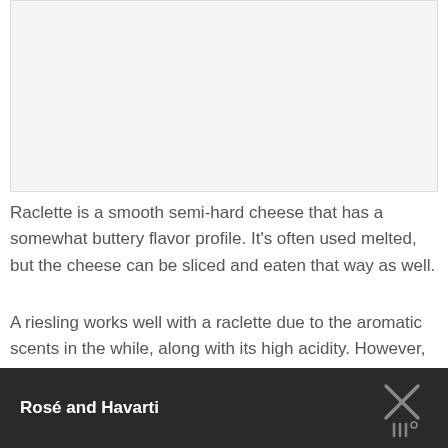[Figure (photo): Image placeholder at top of page (white/light gray area)]
Raclette is a smooth semi-hard cheese that has a somewhat buttery flavor profile. It's often used melted, but the cheese can be sliced and eaten that way as well.
A riesling works well with a raclette due to the aromatic scents in the while, along with its high acidity. However, you'll need to choose your riesling carefully, as they won't all complement raclette in the same way. Look for an off-dry riesling, so there isn't too much sweetness present.
Rosé and Havarti